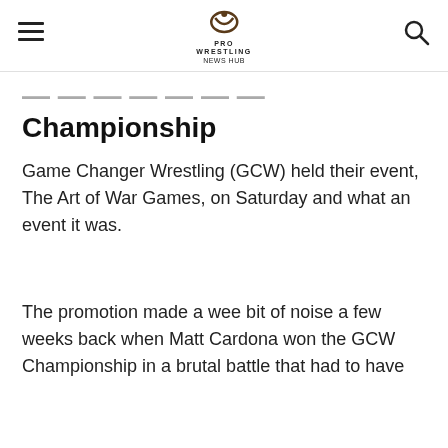PRO WRESTLING NEWS HUB
Championship
Game Changer Wrestling (GCW) held their event, The Art of War Games, on Saturday and what an event it was.
The promotion made a wee bit of noise a few weeks back when Matt Cardona won the GCW Championship in a brutal battle that had to have